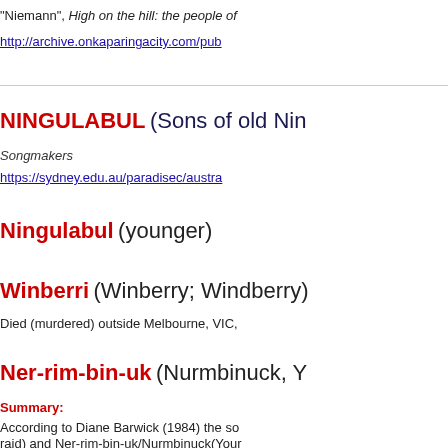"Niemann", High on the hill: the people of
http://archive.onkaparingacity.com/pub
NINGULABUL (Sons of old Nin
Songmakers
https://sydney.edu.au/paradisec/austra
Ningulabul (younger)
Winberri (Winberry; Windberry)
Died (murdered) outside Melbourne, VIC,
Ner-rim-bin-uk (Nurmbinuck, Y
Summary:
According to Diane Barwick (1984) the so
raid) and Ner-rim-bin-uk/Nurmbinuck(Your